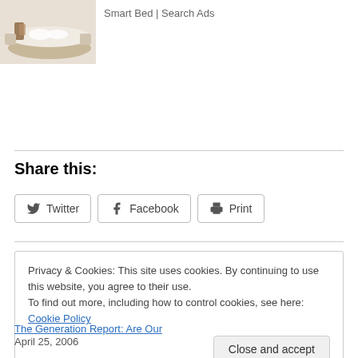[Figure (illustration): Advertisement showing a smart bed product image with text 'Smart Bed | Search Ads']
Share this:
Twitter  Facebook  Print
Loading...
Privacy & Cookies: This site uses cookies. By continuing to use this website, you agree to their use.
To find out more, including how to control cookies, see here: Cookie Policy
Close and accept
The Generation Report: Are Our
April 25, 2006